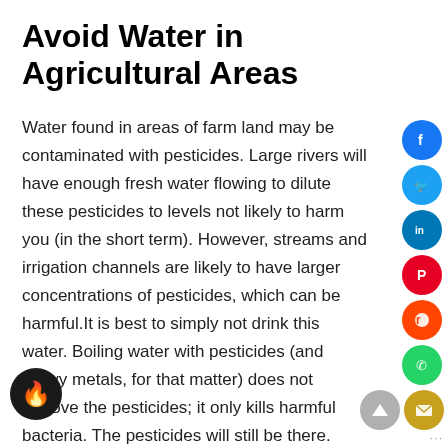Avoid Water in Agricultural Areas
Water found in areas of farm land may be contaminated with pesticides. Large rivers will have enough fresh water flowing to dilute these pesticides to levels not likely to harm you (in the short term). However, streams and irrigation channels are likely to have larger concentrations of pesticides, which can be harmful.It is best to simply not drink this water. Boiling water with pesticides (and heavy metals, for that matter) does not remove the pesticides; it only kills harmful bacteria. The pesticides will still be there. Click here and watch this video for more info.